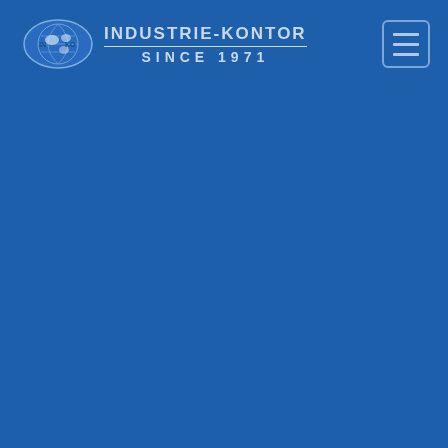[Figure (logo): Industrie-Kontor company logo: oval globe emblem on the left, brand name INDUSTRIE-KONTOR with horizontal rule and SINCE 1971 text on the right, white/light blue on dark blue background]
[Figure (other): Hamburger menu button icon: three horizontal lines in a rounded square border, top-right corner of header]